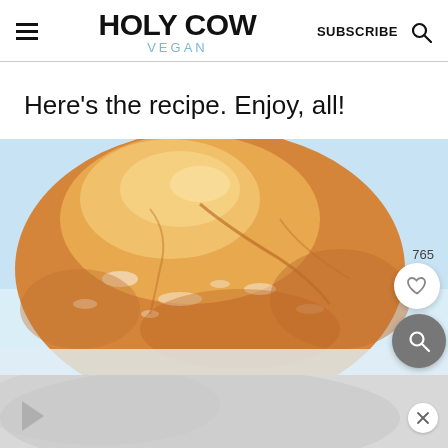Holy Cow Vegan — SUBSCRIBE
Here's the recipe. Enjoy, all!
[Figure (photo): Close-up photo of a round bread roll with golden-brown crust dusted with flour, on a light blue background. Shows a save count of 765 and heart/search icon buttons overlaid on the image.]
[Figure (photo): Bottom strip showing partial continuation of a food image with a play button on the left and a close (X) button on the right.]